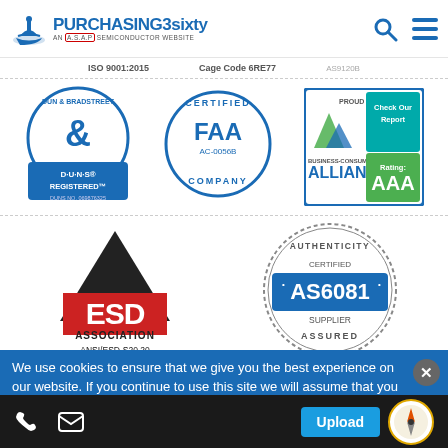PURCHASING3sixty — AN A.S.A.P SEMICONDUCTOR WEBSITE
ISO 9001:2015   Cage Code 6RE77
[Figure (logo): Dun & Bradstreet D-U-N-S Registered badge]
[Figure (logo): FAA AC-0056B Certified Company badge]
[Figure (logo): Business Consumer Alliance Proud Member AAA Rating Check Our Report badge]
[Figure (logo): ESD Association ANSI/ESD-S20.20 badge]
[Figure (logo): Authenticity Certified AS6081 Supplier Assured badge]
All Orders are Fulfilled in the U.S.A.
All shipments must comply with U.S.A export laws with exceptions.
We use cookies to ensure that we give you the best experience on our website. If you continue to use this site we will assume that you are happy with it.